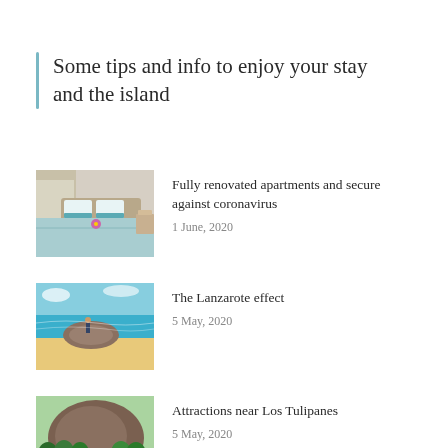Some tips and info to enjoy your stay and the island
[Figure (photo): Hotel bedroom with turquoise bedding and a flower on the bed]
Fully renovated apartments and secure against coronavirus
1 June, 2020
[Figure (photo): Coastal landscape of Lanzarote with turquoise sea, sandy beach, and a figure standing on rocks]
The Lanzarote effect
5 May, 2020
[Figure (photo): Volcanic hill with green trees and a person in foreground near Los Tulipanes]
Attractions near Los Tulipanes
5 May, 2020